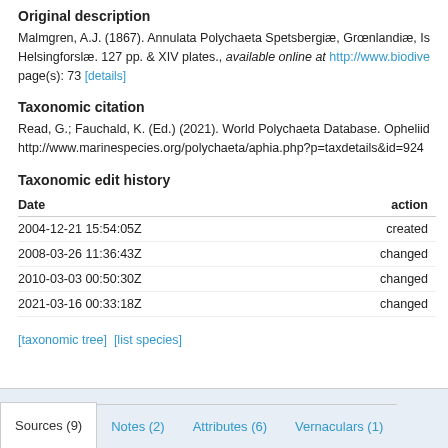Original description
Malmgren, A.J. (1867). Annulata Polychaeta Spetsbergiæ, Grœnlandiæ, Is... Helsingforslæ. 127 pp. & XIV plates., available online at http://www.biodive... page(s): 73 [details]
Taxonomic citation
Read, G.; Fauchald, K. (Ed.) (2021). World Polychaeta Database. Opheliid... http://www.marinespecies.org/polychaeta/aphia.php?p=taxdetails&id=924...
Taxonomic edit history
| Date | action |
| --- | --- |
| 2004-12-21 15:54:05Z | created |
| 2008-03-26 11:36:43Z | changed |
| 2010-03-03 00:50:30Z | changed |
| 2021-03-16 00:33:18Z | changed |
[taxonomic tree]  [list species]
Sources (9)   Notes (2)   Attributes (6)   Vernaculars (1)